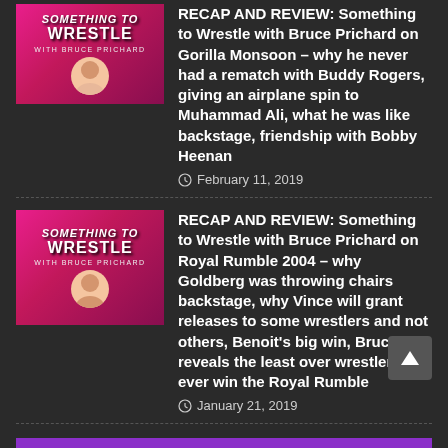[Figure (photo): Something to Wrestle with Bruce Prichard podcast thumbnail - pink background with logo and host face]
RECAP AND REVIEW: Something to Wrestle with Bruce Prichard on Gorilla Monsoon – why he never had a rematch with Buddy Rogers, giving an airplane spin to Muhammad Ali, what he was like backstage, friendship with Bobby Heenan
February 11, 2019
[Figure (photo): Something to Wrestle with Bruce Prichard podcast thumbnail - pink background with logo and host face]
RECAP AND REVIEW: Something to Wrestle with Bruce Prichard on Royal Rumble 2004 – why Goldberg was throwing chairs backstage, why Vince will grant releases to some wrestlers and not others, Benoit's big win, Bruce reveals the least over wrestler to ever win the Royal Rumble
January 21, 2019
LATEST FROM JIM ROSS
[Figure (photo): The Ross Report podcast thumbnail - dark background with Jim Ross]
RECAP AND REVIEW: The Ross Report with Tessa Blanchard on working with W.O.W., how